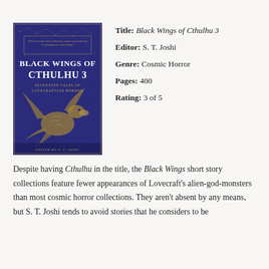[Figure (illustration): Book cover of 'Black Wings of Cthulhu 3: Seventeen Tales of Lovecraftian Horror' edited by S. T. Joshi. Dark blue background with gold constellation map and winged creature illustration.]
Title: Black Wings of Cthulhu 3
Editor: S. T. Joshi
Genre: Cosmic Horror
Pages: 400
Rating: 3 of 5
Despite having Cthulhu in the title, the Black Wings short story collections feature fewer appearances of Lovecraft's alien-god-monsters than most cosmic horror collections. They aren't absent by any means, but S. T. Joshi tends to avoid stories that he considers to be